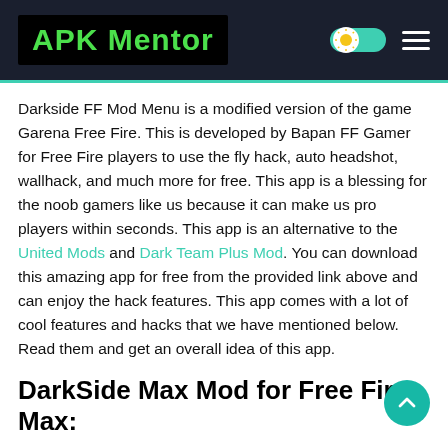APK Mentor
Darkside FF Mod Menu is a modified version of the game Garena Free Fire. This is developed by Bapan FF Gamer for Free Fire players to use the fly hack, auto headshot, wallhack, and much more for free. This app is a blessing for the noob gamers like us because it can make us pro players within seconds. This app is an alternative to the United Mods and Dark Team Plus Mod. You can download this amazing app for free from the provided link above and can enjoy the hack features. This app comes with a lot of cool features and hacks that we have mentioned below. Read them and get an overall idea of this app.
DarkSide Max Mod for Free Fire Max:
Darkside Max is the new mod menu by Bapan FF for Garena Free Fire Max users. It has all the cool features in it like an auto...